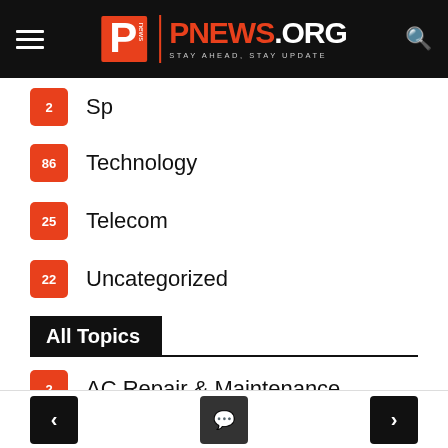PNEWS.ORG — STAY AHEAD, STAY UPDATE
2 Sp... (partially visible)
86 Technology
25 Telecom
22 Uncategorized
All Topics
2 AC Repair & Maintenance
32 Apple
41 Applications
3 Automobile
51 Breaking News
< [comment icon] >